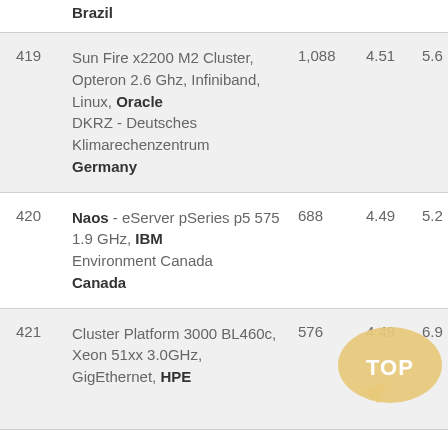Brazil
| # | System | Cores | Rmax | Rpeak |
| --- | --- | --- | --- | --- |
| 419 | Sun Fire x2200 M2 Cluster, Opteron 2.6 Ghz, Infiniband, Linux, Oracle
DKRZ - Deutsches Klimarechenzentrum
Germany | 1,088 | 4.51 | 5.6 |
| 420 | Naos - eServer pSeries p5 575 1.9 GHz, IBM
Environment Canada
Canada | 688 | 4.49 | 5.2 |
| 421 | Cluster Platform 3000 BL460c, Xeon 51xx 3.0GHz, GigEthernet, HPE | 576 | 4.49 | 6.9 |